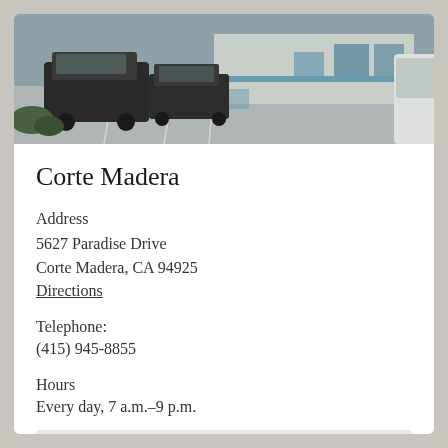[Figure (photo): Parking lot scene with dark SUVs and a light-colored building with blue accents in the background]
Corte Madera
Address
5627 Paradise Drive
Corte Madera, CA 94925
Directions
Telephone:
(415) 945-8855
Hours
Every day, 7 a.m.–9 p.m.
More info